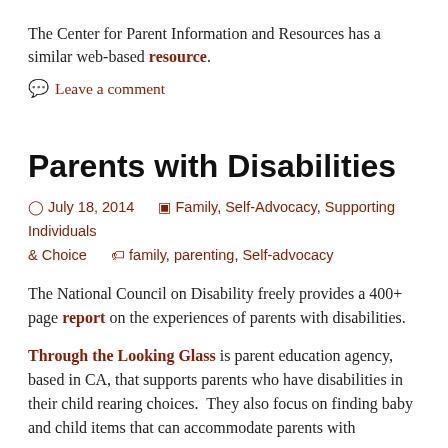The Center for Parent Information and Resources has a similar web-based resource.
💬 Leave a comment
Parents with Disabilities
July 18, 2014   Family, Self-Advocacy, Supporting Individuals & Choice   family, parenting, Self-advocacy
The National Council on Disability freely provides a 400+ page report on the experiences of parents with disabilities.
Through the Looking Glass is parent education agency, based in CA, that supports parents who have disabilities in their child rearing choices. They also focus on finding baby and child items that can accommodate parents with